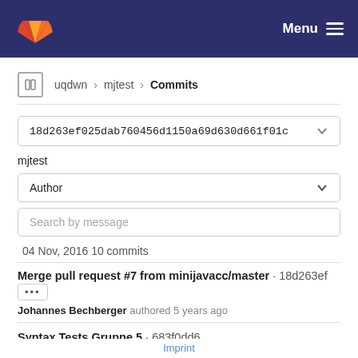Menu
uqdwn > mjtest > Commits
18d263ef025dab760456d1150a69d630d661f01c
mjtest
Author
Search by message
04 Nov, 2016 10 commits
Merge pull request #7 from minijavacc/master · 18d263ef
Johannes Bechberger authored 5 years ago
Syntax Tests Gruppe 5 · 683f0dd6
Imprint